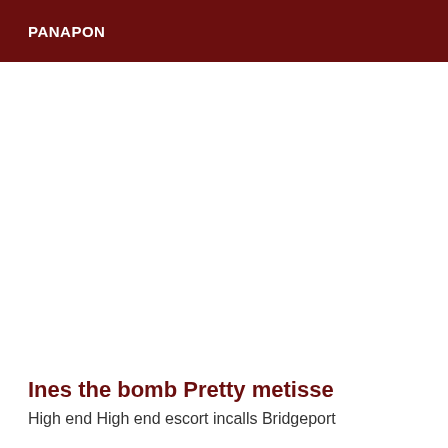PANAPON
Ines the bomb Pretty metisse
High end High end escort incalls Bridgeport